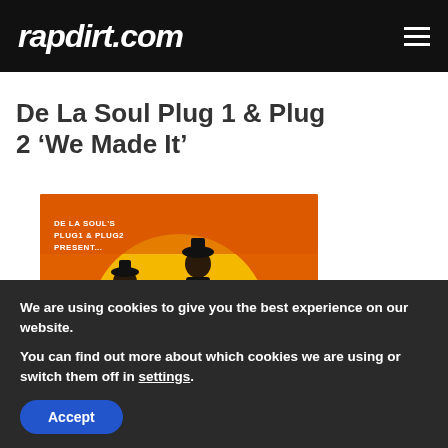rapdirt.com
De La Soul Plug 1 & Plug 2 ‘We Made It’
[Figure (photo): Album art for De La Soul's Plug1 & Plug2 project — illustrated figures of two men in suits and one seated figure with sunglasses on an orange background with a yellow circle, text reads 'DE LA SOUL'S PLUG1 & PLUG2 PRESENT...']
We are using cookies to give you the best experience on our website.
You can find out more about which cookies we are using or switch them off in settings.
Accept